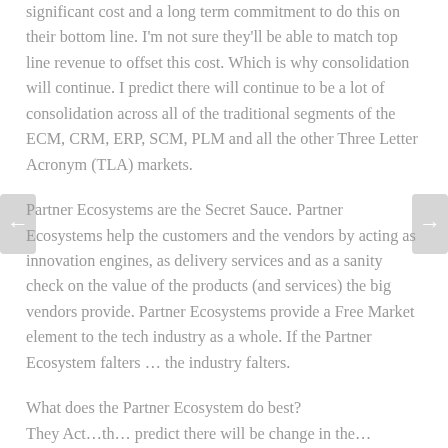significant cost and a long term commitment to do this on their bottom line. I'm not sure they'll be able to match top line revenue to offset this cost. Which is why consolidation will continue. I predict there will continue to be a lot of consolidation across all of the traditional segments of the ECM, CRM, ERP, SCM, PLM and all the other Three Letter Acronym (TLA) markets.
Partner Ecosystems are the Secret Sauce. Partner Ecosystems help the customers and the vendors by acting as innovation engines, as delivery services and as a sanity check on the value of the products (and services) the big vendors provide. Partner Ecosystems provide a Free Market element to the tech industry as a whole. If the Partner Ecosystem falters … the industry falters.
What does the Partner Ecosystem do best?
They Act…th… predict there will be change in the…